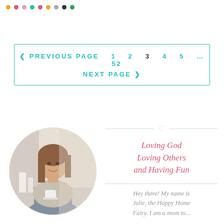colored dots decoration
< PREVIOUS PAGE  1  2  3  4  5  ...  52  NEXT PAGE >
[Figure (photo): Circular cropped photo of a smiling woman with long brown hair holding a coffee cup, sitting in a cozy setting with candles in the background]
Loving God Loving Others and Having Fun
Hey there! My name is Julie, the Happy Home Fairy. I am a mom to...